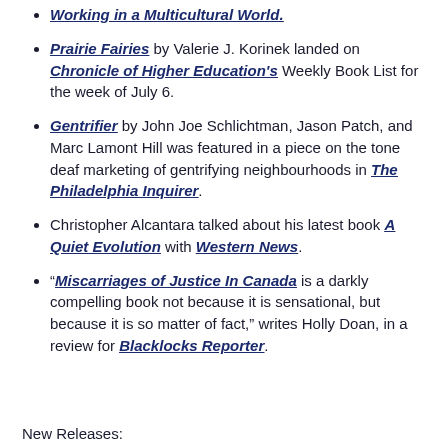Working in a Multicultural World. (link/title at top)
Prairie Fairies by Valerie J. Korinek landed on Chronicle of Higher Education's Weekly Book List for the week of July 6.
Gentrifier by John Joe Schlichtman, Jason Patch, and Marc Lamont Hill was featured in a piece on the tone deaf marketing of gentrifying neighbourhoods in The Philadelphia Inquirer.
Christopher Alcantara talked about his latest book A Quiet Evolution with Western News.
"Miscarriages of Justice In Canada is a darkly compelling book not because it is sensational, but because it is so matter of fact," writes Holly Doan, in a review for Blacklocks Reporter.
New Releases: